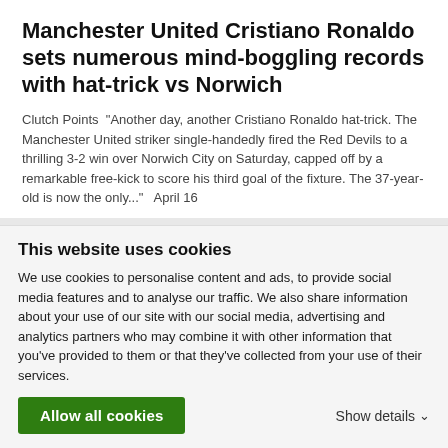Manchester United Cristiano Ronaldo sets numerous mind-boggling records with hat-trick vs Norwich
Clutch Points  "Another day, another Cristiano Ronaldo hat-trick. The Manchester United striker single-handedly fired the Red Devils to a thrilling 3-2 win over Norwich City on Saturday, capped off by a remarkable free-kick to score his third goal of the fixture. The 37-year-old is now the only..."  April 16
Premier League to introduce 5 substitutions from next season
Sky Sports  "Premier League clubs have agreed to five substitutes being
This website uses cookies
We use cookies to personalise content and ads, to provide social media features and to analyse our traffic. We also share information about your use of our site with our social media, advertising and analytics partners who may combine it with other information that you've provided to them or that they've collected from your use of their services.
Allow all cookies
Show details